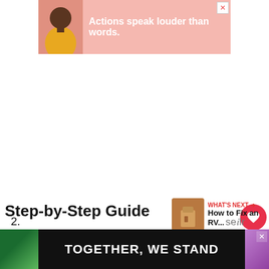[Figure (other): Pink advertisement banner with person illustration and text 'Actions speak louder than words.']
Step-by-Step Guide
[Figure (other): What's Next promo box showing 'How to Fix an RV...' with thumbnail image]
1. Place a funnel over the coolant reservoir.
[Figure (other): Bottom advertisement banner with 'TOGETHER, WE STAND' text on dark background with colorful shapes]